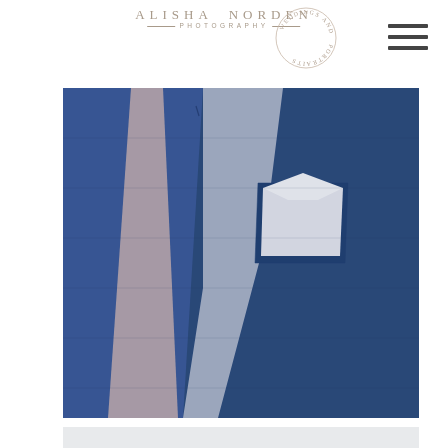[Figure (logo): Alisha Norden Photography logo with circular badge reading Weddings and Portraits]
[Figure (photo): Close-up detail photo of a groom's navy blue suit jacket with white pocket square and pale pink tie]
[Figure (photo): Partial view of group of groomsmen in navy suits against white background, cropped at bottom]